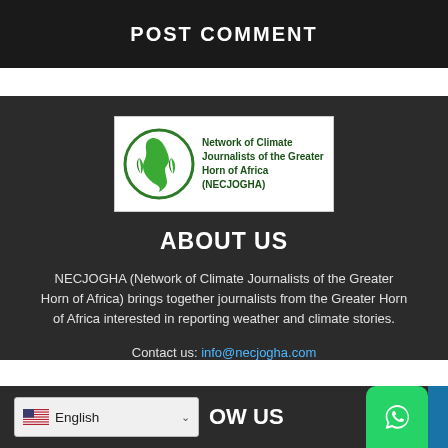POST COMMENT
[Figure (logo): NECJOGHA logo: green Africa map with leaf motifs and text 'Network of Climate Journalists of the Greater Horn of Africa (NECJOGHA)']
ABOUT US
NECJOGHA (Network of Climate Journalists of the Greater Horn of Africa) brings together journalists from the Greater Horn of Africa interested in reporting weather and climate stories.
Contact us: info@necjogha.com
FOLLOW US